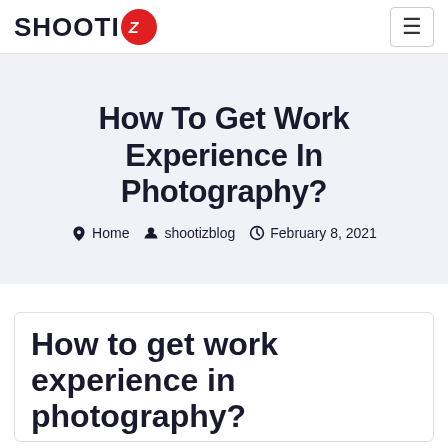SHOOTIZ — navigation bar with logo and hamburger menu
How To Get Work Experience In Photography?
Home  shootizblog  February 8, 2021
How to get work experience in photography?